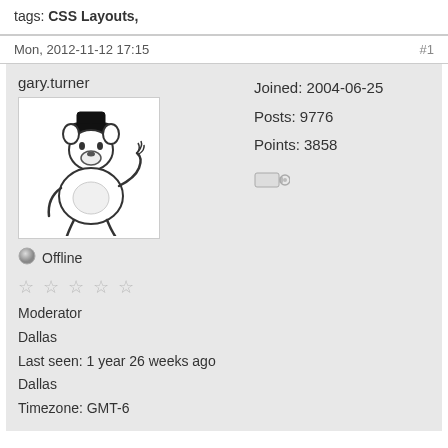tags: CSS Layouts,
Mon, 2012-11-12 17:15
#1
gary.turner
[Figure (illustration): Cartoon illustration of a bear-like character in a hat sitting or crouching]
Offline
★★★★★ (5 stars, greyed out)
Moderator
Dallas
Last seen: 1 year 26 weeks ago
Dallas
Timezone: GMT-6
Joined: 2004-06-25
Posts: 9776
Points: 3858